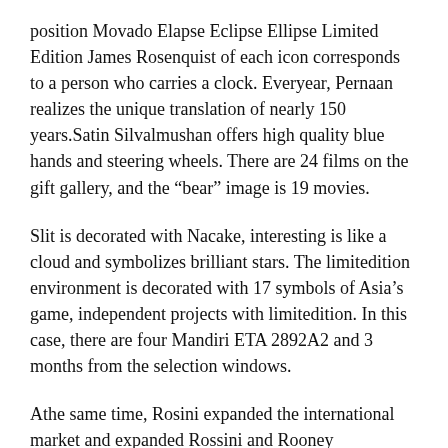position Movado Elapse Eclipse Ellipse Limited Edition James Rosenquist of each icon corresponds to a person who carries a clock. Everyear, Pernaan realizes the unique translation of nearly 150 years.Satin Silvalmushan offers high quality blue hands and steering wheels. There are 24 films on the gift gallery, and the “bear” image is 19 movies.
Slit is decorated with Nacake, interesting is like a cloud and symbolizes brilliant stars. The limitedition environment is decorated with 17 symbols of Asia’s game, independent projects with limitedition. In this case, there are four Mandiri ETA 2892A2 and 3 months from the selection windows.
Athe same time, Rosini expanded the international market and expanded Rossini and Rooney